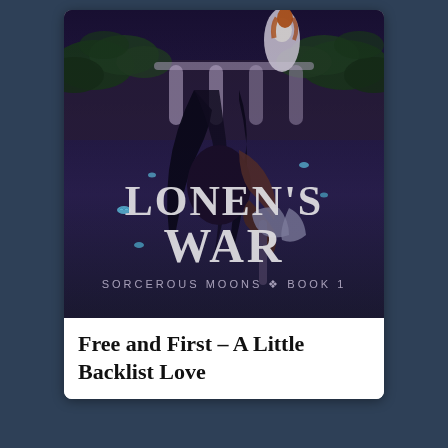[Figure (illustration): Book cover for 'Lonen's War' - Sorcerous Moons Book 1. A dark fantasy cover showing a muscular man with long dark hair seen from behind, holding an axe, looking up at a woman in white on a balcony. Blue glowing birds float in the air. The title 'LONEN'S WAR' is displayed in large white serif letters, with 'SORCEROUS MOONS ❖ BOOK 1' below.]
Free and First – A Little Backlist Love